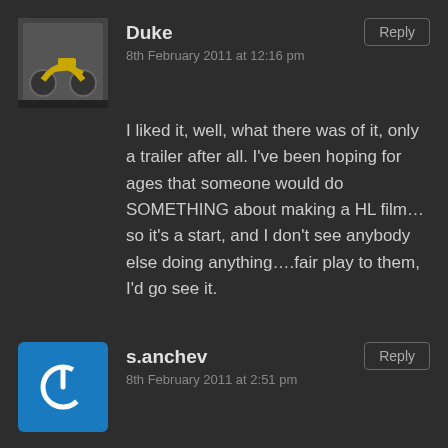Duke
8th February 2011 at 12:16 pm
I liked it, well, what there was of it, only a trailer after all. I've been hoping for ages that someone would do SOMETHING about making a HL film…so it's a start, and I don't see anybody else doing anything….fair play to them, I'd go see it.
s.anchev
8th February 2011 at 2:51 pm
Hot topic. As I say before, there is too much integrism and fanatism about the HLverse, but this is the very core about the poll and discussion here, so I won't get into this, especially seeing this has a little dgnÃ¨rated